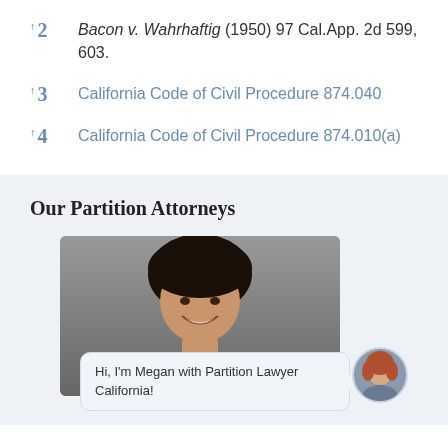↑2 Bacon v. Wahrhaftig (1950) 97 Cal.App. 2d 599, 603.
↑3 California Code of Civil Procedure 874.040
↑4 California Code of Civil Procedure 874.010(a)
Our Partition Attorneys
[Figure (photo): Photo of a male attorney with dark hair, smiling, with a chat bubble overlay reading 'Hi, I'm Megan with Partition Lawyer California!' and a circular avatar of a woman with red hair.]